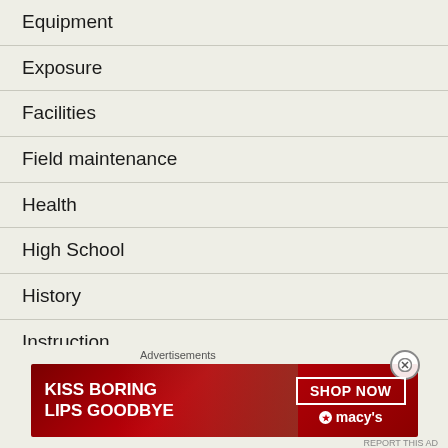Equipment
Exposure
Facilities
Field maintenance
Health
High School
History
Instruction
Little League
Media
Advertisements
[Figure (other): Macy's advertisement banner: KISS BORING LIPS GOODBYE with SHOP NOW button and macy's logo, featuring a woman's face with red lips]